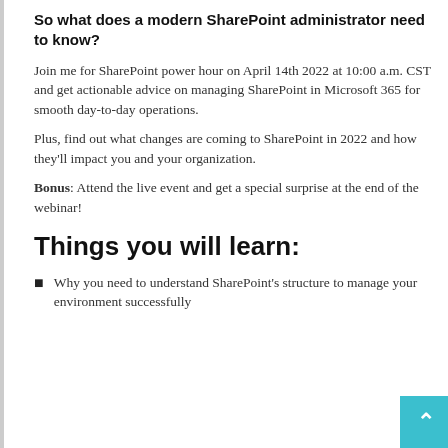So what does a modern SharePoint administrator need to know?
Join me for SharePoint power hour on April 14th 2022 at 10:00 a.m. CST and get actionable advice on managing SharePoint in Microsoft 365 for smooth day-to-day operations.
Plus, find out what changes are coming to SharePoint in 2022 and how they'll impact you and your organization.
Bonus: Attend the live event and get a special surprise at the end of the webinar!
Things you will learn:
Why you need to understand SharePoint's structure to manage your environment successfully